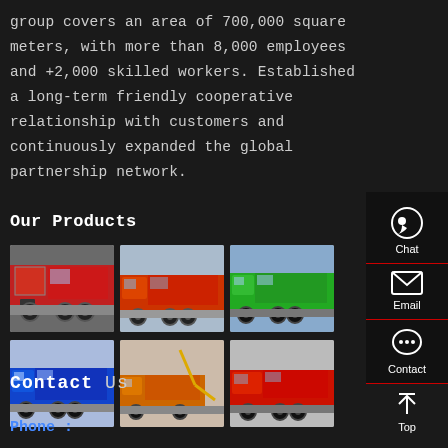group covers an area of 700,000 square meters, with more than 8,000 employees and +2,000 skilled workers. Established a long-term friendly cooperative relationship with customers and continuously expanded the global partnership network.
Our Products
[Figure (photo): Red dump truck parked in a yard]
[Figure (photo): Orange/red dump truck parked on road]
[Figure (photo): Green dump truck]
[Figure (photo): Blue dump truck]
[Figure (photo): Orange crane truck]
[Figure (photo): Red tractor truck]
Contact Us
Phone :